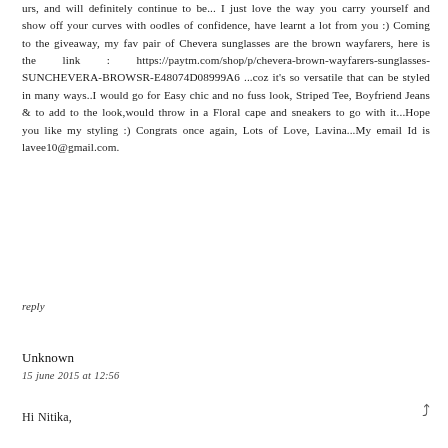urs, and will definitely continue to be... I just love the way you carry yourself and show off your curves with oodles of confidence, have learnt a lot from you :) Coming to the giveaway, my fav pair of Chevera sunglasses are the brown wayfarers, here is the link : https://paytm.com/shop/p/chevera-brown-wayfarers-sunglasses-SUNCHEVERA-BROWSR-E48074D08999A6 ...coz it's so versatile that can be styled in many ways..I would go for Easy chic and no fuss look, Striped Tee, Boyfriend Jeans & to add to the look,would throw in a Floral cape and sneakers to go with it...Hope you like my styling :) Congrats once again, Lots of Love, Lavina...My email Id is lavee10@gmail.com.
reply
Unknown
15 june 2015 at 12:56
Hi Nitika,